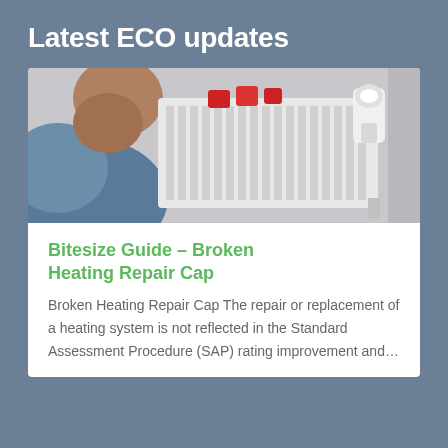Latest ECO updates
[Figure (photo): Close-up photo of a person inspecting a white radiator with red valve clips and a thermostatic radiator valve (TRV) on top, on a grey background.]
Bitesize Guide – Broken Heating Repair Cap
Broken Heating Repair Cap The repair or replacement of a heating system is not reflected in the Standard Assessment Procedure (SAP) rating improvement and…